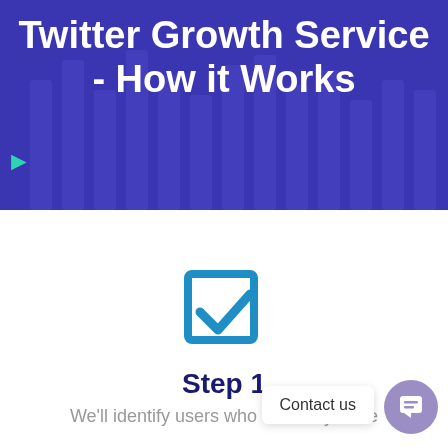Twitter Growth Service - How it Works
[Figure (illustration): Blue checkbox icon with white checkmark]
Step 1
We'll identify users who are likely to be